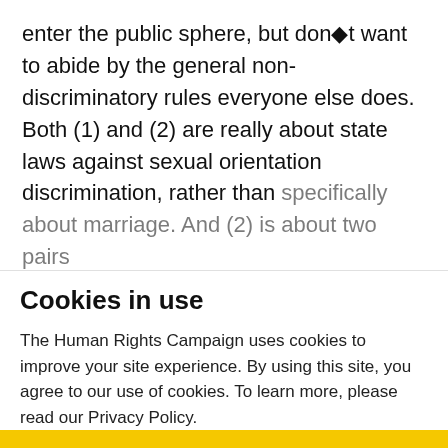enter the public sphere, but don◆t want to abide by the general non-discriminatory rules everyone else does. Both (1) and (2) are really about state laws against sexual orientation discrimination, rather than specifically about marriage. And (2) is about two pairs
Cookies in use
The Human Rights Campaign uses cookies to improve your site experience. By using this site, you agree to our use of cookies. To learn more, please read our Privacy Policy.
Accept
More Information